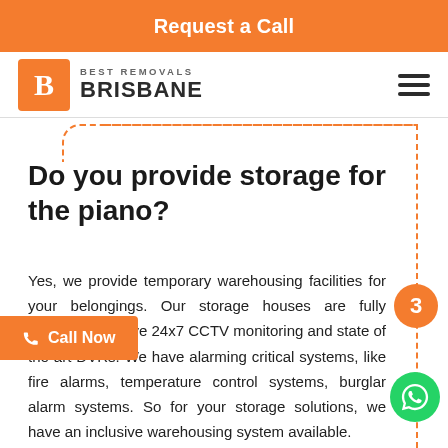Request a Call
[Figure (logo): Best Removals Brisbane logo with orange B icon and company name]
Do you provide storage for the piano?
Yes, we provide temporary warehousing facilities for your belongings. Our storage houses are fully secured and have 24x7 CCTV monitoring and state of the art DVRs. We have alarming critical systems, like fire alarms, temperature control systems, burglar alarm systems. So for your storage solutions, we have an inclusive warehousing system available.